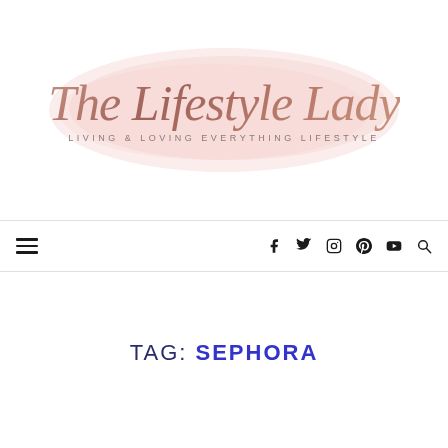[Figure (logo): The Lifestyle Lady blog logo with script text over a pink watercolor blob, subtitle reads LIVING & LOVING EVERYTHING LIFESTYLE]
hamburger menu icon and social media icons: f (Facebook), Twitter bird, Instagram, Pinterest, YouTube, Search
TAG: SEPHORA